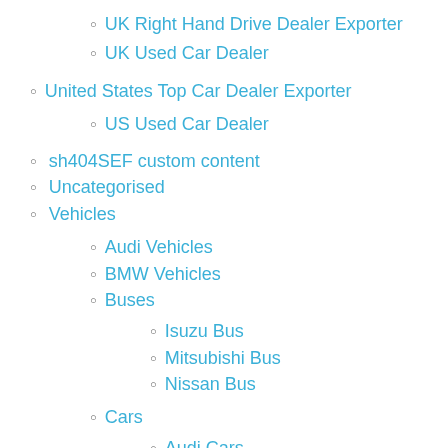UK Right Hand Drive Dealer Exporter
UK Used Car Dealer
United States Top Car Dealer Exporter
US Used Car Dealer
sh404SEF custom content
Uncategorised
Vehicles
Audi Vehicles
BMW Vehicles
Buses
Isuzu Bus
Mitsubishi Bus
Nissan Bus
Cars
Audi Cars